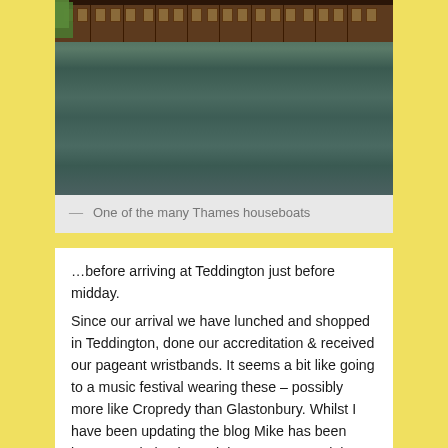[Figure (photo): A large houseboat or floating building with brown/dark timber facade and multiple windows, viewed across a river (the Thames). The building sits on the water with green trees visible behind it. The river water shows reflections and ripples in the foreground.]
— One of the many Thames houseboats
…before arriving at Teddington just before midday.
Since our arrival we have lunched and shopped in Teddington, done our accreditation & received our pageant wristbands. It seems a bit like going to a music festival wearing these – possibly more like Cropredy than Glastonbury. Whilst I have been updating the blog Mike has been busy completing boaty jobs. He's secured the throwing line and lifebuoy on deck, attached longer bow and stern lines and checked the anchor chain & rope – all items that we need for additional safety on the tidal Thames. The final preparation has also been done for the